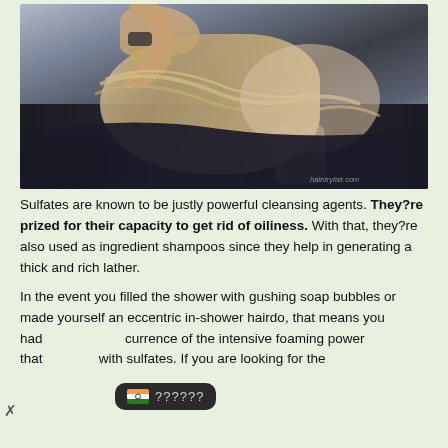[Figure (photo): A woman at a hair salon having her hair washed, leaning back at a sink while a stylist's hands work through her wet blonde hair. A watermark 'hairdryfair.com' appears at bottom right.]
Sulfates are known to be justly powerful cleansing agents. They?re prized for their capacity to get rid of oiliness. With that, they?re also used as ingredient shampoos since they help in generating a thick and rich lather.
In the event you filled the shower with gushing soap bubbles or made yourself an eccentric in-shower hairdo, that means you had [tooltip overlay] currence of the intensive foaming power that [tooltip overlay] with sulfates. If you are looking for the